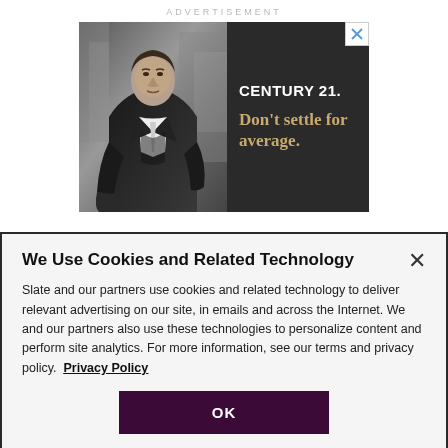ADVERTISEMENT
[Figure (photo): Century 21 advertisement showing a man in a dark suit on the left half (black and white photo), and the right half with dark background showing 'CENTURY 21.' in white bold text and 'Don't settle for average.' in gold/tan serif text. A close (X) button is in the top right corner of the ad.]
We Use Cookies and Related Technology
Slate and our partners use cookies and related technology to deliver relevant advertising on our site, in emails and across the Internet. We and our partners also use these technologies to personalize content and perform site analytics. For more information, see our terms and privacy policy.  Privacy Policy
OK